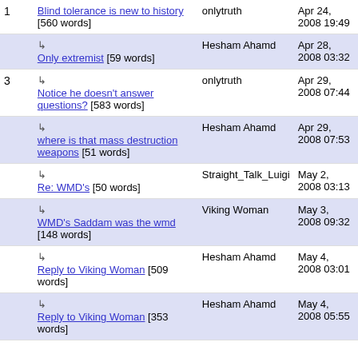| # | Title | Author | Date |
| --- | --- | --- | --- |
| 1 | Blind tolerance is new to history [560 words] | onlytruth | Apr 24, 2008 19:49 |
|  | ↳ Only extremist [59 words] | Hesham Ahamd | Apr 28, 2008 03:32 |
| 3 | ↳ Notice he doesn't answer questions? [583 words] | onlytruth | Apr 29, 2008 07:44 |
|  | ↳ where is that mass destruction weapons [51 words] | Hesham Ahamd | Apr 29, 2008 07:53 |
|  | ↳ Re: WMD's [50 words] | Straight_Talk_Luigi | May 2, 2008 03:13 |
|  | ↳ WMD's Saddam was the wmd [148 words] | Viking Woman | May 3, 2008 09:32 |
|  | ↳ Reply to Viking Woman [509 words] | Hesham Ahamd | May 4, 2008 03:01 |
|  | ↳ Reply to Viking Woman [353 words] | Hesham Ahamd | May 4, 2008 05:55 |